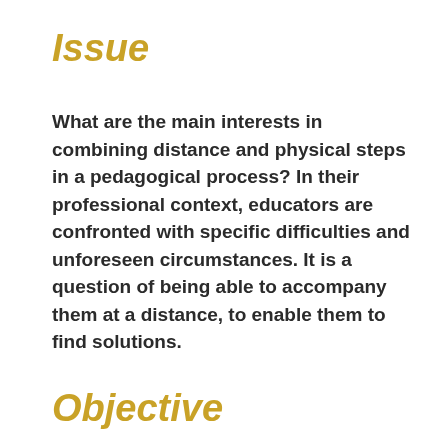Issue
What are the main interests in combining distance and physical steps in a pedagogical process? In their professional context, educators are confronted with specific difficulties and unforeseen circumstances. It is a question of being able to accompany them at a distance, to enable them to find solutions.
Objective